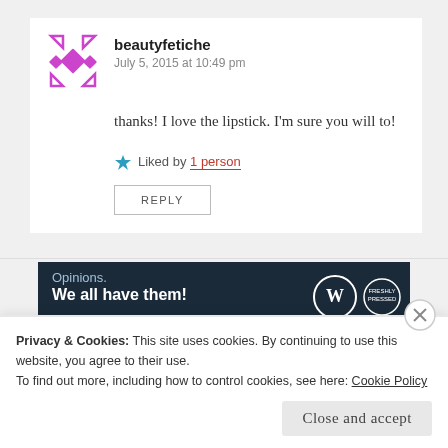beautyfetiche
July 5, 2015 at 10:49 pm
thanks! I love the lipstick. I'm sure you will to!
Liked by 1 person
REPLY
[Figure (infographic): WordPress ad banner: 'Opinions. We all have them!' with WordPress and Freshly Pressed logos on dark navy background]
REPORT THIS AD
Privacy & Cookies: This site uses cookies. By continuing to use this website, you agree to their use.
To find out more, including how to control cookies, see here: Cookie Policy
Close and accept